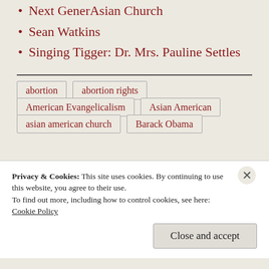Next GenerAsian Church
Sean Watkins
Singing Tigger: Dr. Mrs. Pauline Settles
abortion
abortion rights
American Evangelicalism
Asian American
asian american church
Barack Obama
Privacy & Cookies: This site uses cookies. By continuing to use this website, you agree to their use. To find out more, including how to control cookies, see here: Cookie Policy
Close and accept